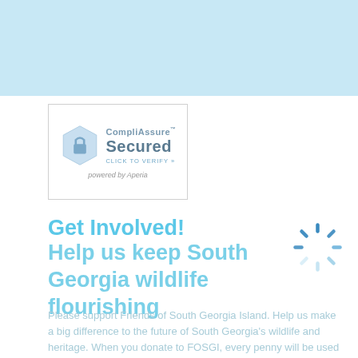[Figure (logo): CompliAssure Secured badge with hexagonal icon, text 'CompliAssure™ Secured CLICK TO VERIFY »', and 'powered by Aperia' below]
Get Involved!
Help us keep South Georgia wildlife flourishing
Please support Friends of South Georgia Island. Help us make a big difference to the future of South Georgia's wildlife and heritage. When you donate to FOSGI, every penny will be used to bring benefit to South Georgia.
As a Friends of South Georgia Island (FOSGI) and or a South Georgia Heritage Trust (SGHT) supporter, you